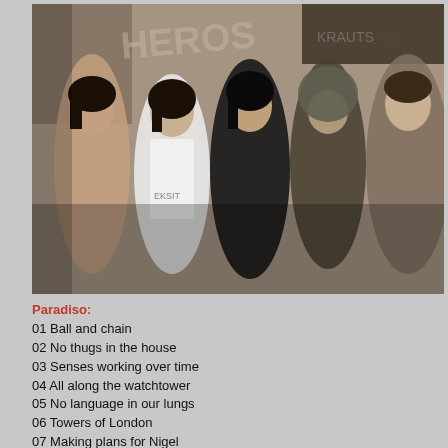[Figure (photo): Black and white sepia-toned photograph of five young men (a band) standing together in front of a graffiti-covered wall. One man on the left is shirtless, the second wears a white vest/tank top, the middle man wears a dark jacket, the fourth wears a hooded top, and the rightmost man wears an open jacket.]
Paradiso:
01 Ball and chain
02 No thugs in the house
03 Senses working over time
04 All along the watchtower
05 No language in our lungs
06 Towers of London
07 Making plans for Nigel
08 Living through another Cuba
09 Generals and majors
10 Real by reel
11 Sgt. Rock (is going to help me)
RockPalast:
12 Respectable street